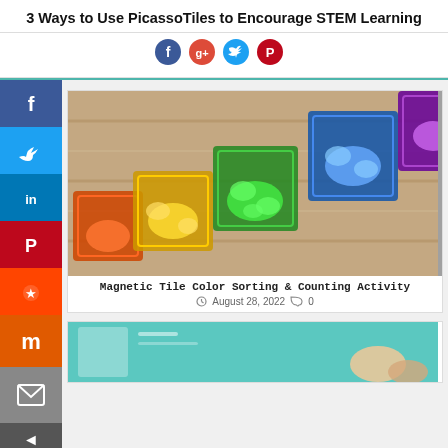3 Ways to Use PicassoTiles to Encourage STEM Learning
[Figure (infographic): Four circular social media icons: Facebook (f), Google+ (g+), Twitter bird, Pinterest (P)]
[Figure (photo): Colorful magnetic tiles (orange, yellow, green, blue, purple) arranged in a row on a wooden surface, each filled with small plastic dinosaur figures of matching colors]
Magnetic Tile Color Sorting & Counting Activity
August 28, 2022   0
[Figure (photo): Partial view of a teal/green background with what appears to be hands working on an activity]